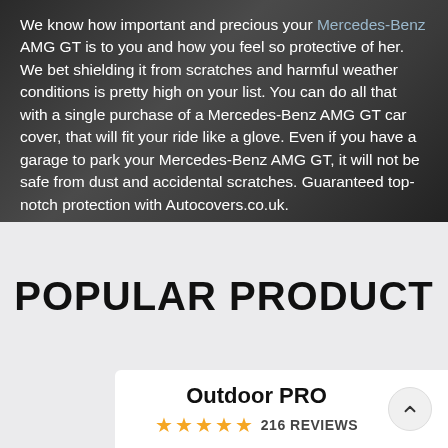We know how important and precious your Mercedes-Benz AMG GT is to you and how you feel so protective of her. We bet shielding it from scratches and harmful weather conditions is pretty high on your list. You can do all that with a single purchase of a Mercedes-Benz AMG GT car cover, that will fit your ride like a glove. Even if you have a garage to park your Mercedes-Benz AMG GT, it will not be safe from dust and accidental scratches. Guaranteed top-notch protection with Autocovers.co.uk.
POPULAR PRODUCT
Outdoor PRO
216 REVIEWS